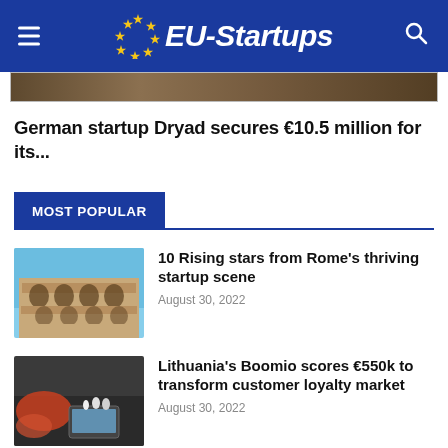EU-Startups
[Figure (photo): Partial view of a dark textured nature/forest background image strip]
German startup Dryad secures €10.5 million for its...
MOST POPULAR
[Figure (photo): Photo of the Colosseum in Rome against a blue sky]
10 Rising stars from Rome's thriving startup scene
August 30, 2022
[Figure (photo): Photo of a person with a tablet and small figurines on a dark surface]
Lithuania's Boomio scores €550k to transform customer loyalty market
August 30, 2022